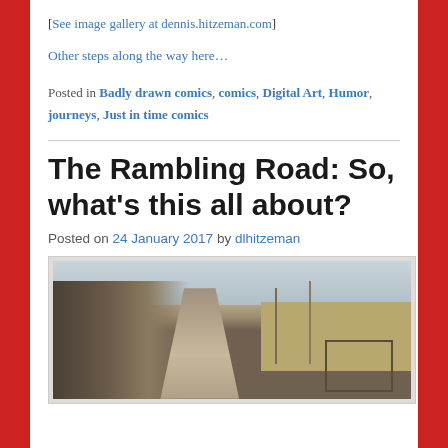[See image gallery at dennis.hitzeman.com]
Other steps along the way here…
Posted in Badly drawn comics, comics, Digital Art, Humor, journeys, Just in time comics
The Rambling Road: So, what's this all about?
Posted on 24 January 2017 by dlhitzeman
[Figure (photo): A rural gravel road receding into the distance, flanked by bare winter trees on the left and open fields on the right, with utility poles and a gate visible]